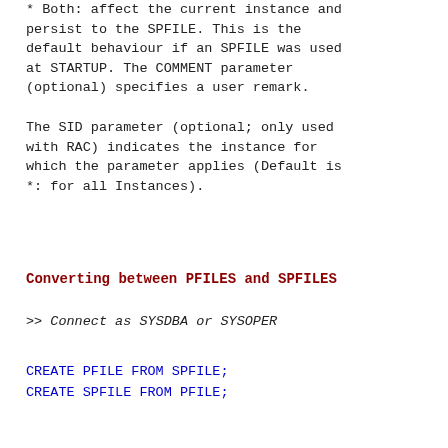* Both: affect the current instance and persist to the SPFILE. This is the default behaviour if an SPFILE was used at STARTUP. The COMMENT parameter (optional) specifies a user remark.
The SID parameter (optional; only used with RAC) indicates the instance for which the parameter applies (Default is *: for all Instances).
Converting between PFILES and SPFILES
>> Connect as SYSDBA or SYSOPER
CREATE PFILE FROM SPFILE;
CREATE SPFILE FROM PFILE;